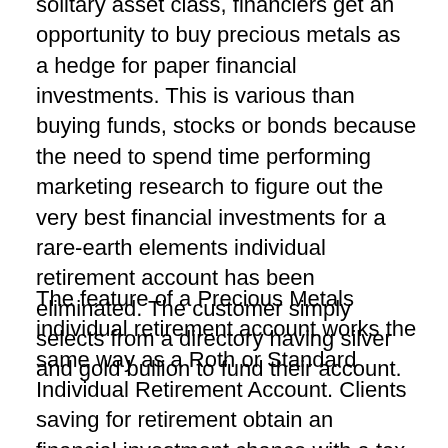solitary asset class, financiers get an opportunity to buy precious metals as a hedge for paper financial investments. This is various than buying funds, stocks or bonds because the need to spend time performing marketing research to figure out the very best financial investments for a rare-earth elements individual retirement account has been eliminated. The customer simply selects from a directory having silver and gold bullion to fund their account.
The feature of a Precious Metals individual retirement account works the same way as a Roth or Standard Individual Retirement Account. Clients saving for retirement obtain an financial investment chance with a tax obligation advantage. A Golden Gold IRA is a